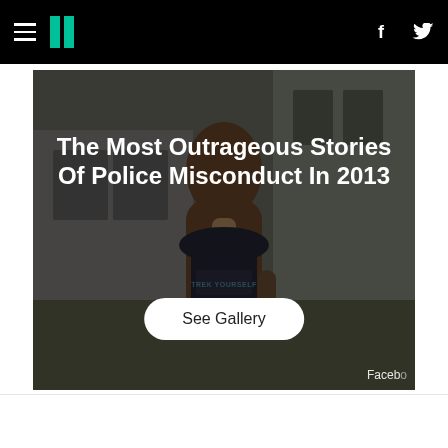HuffPost navigation bar with hamburger menu, logo, Facebook and Twitter icons
[Figure (photo): Person with long brown hair standing outdoors in front of a house, back to camera, wearing a dark t-shirt that reads 'TREK YOURSELF'. Darkened photo overlay. Title reads 'The Most Outrageous Stories Of Police Misconduct In 2013' with a 'See Gallery' button. 'Faceb' watermark visible at bottom right.]
The Most Outrageous Stories Of Police Misconduct In 2013